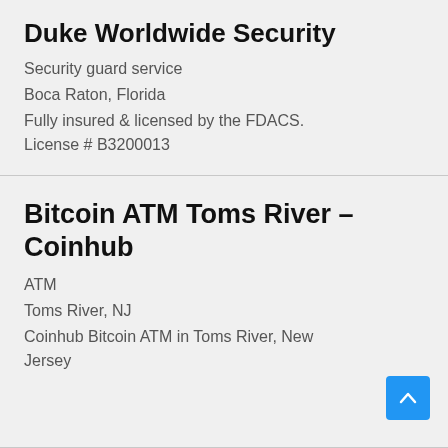Duke Worldwide Security
Security guard service
Boca Raton, Florida
Fully insured & licensed by the FDACS. License # B3200013
Bitcoin ATM Toms River – Coinhub
ATM
Toms River, NJ
Coinhub Bitcoin ATM in Toms River, New Jersey